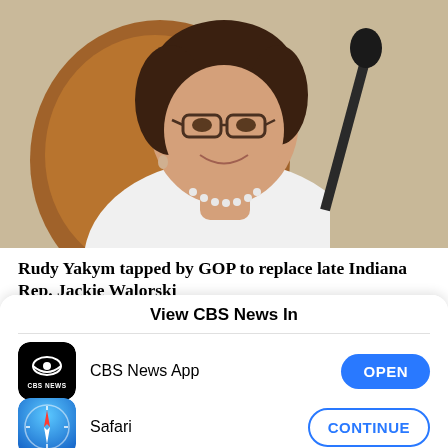[Figure (photo): Photo of a woman with short dark hair, glasses, pearl necklace, and white top, seated in front of a leather chair and microphone]
Rudy Yakym tapped by GOP to replace late Indiana Rep. Jackie Walorski
View CBS News In
[Figure (logo): CBS News App icon — black rounded square with CBS eye logo and 'CBS NEWS' text]
CBS News App
OPEN
[Figure (logo): Safari browser icon — blue compass with red and white needle]
Safari
CONTINUE